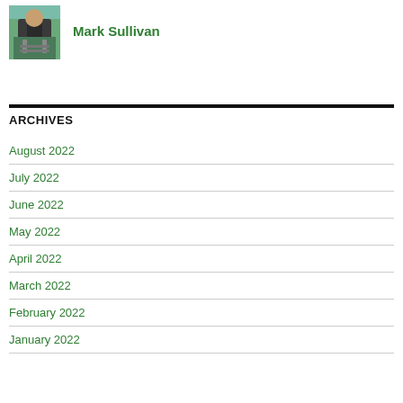[Figure (photo): Profile photo of Mark Sullivan, a man playing a guitar, wearing a dark shirt, outdoors]
Mark Sullivan
ARCHIVES
August 2022
July 2022
June 2022
May 2022
April 2022
March 2022
February 2022
January 2022